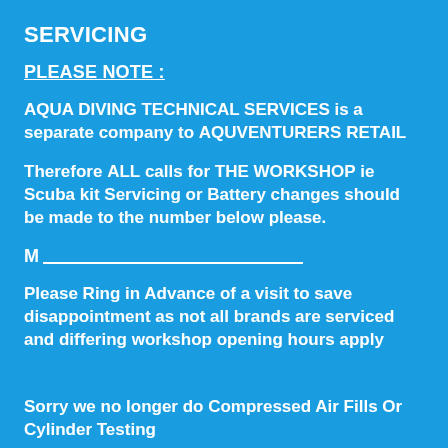SERVICING
PLEASE NOTE :
AQUA DIVING TECHNICAL SERVICES is a separate company to AQUVENTURERS RETAIL
Therefore ALL calls for THE WORKSHOP ie Scuba kit Servicing or Battery changes should be made to the number below please.
M ___________________________________________
Please Ring in Advance of a visit to save disappointment as not all brands are serviced and differing workshop opening hours apply
Sorry we no longer do Compressed Air Fills Or Cylinder Testing